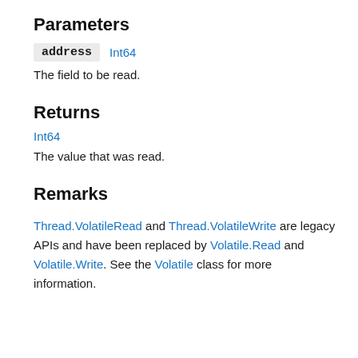Parameters
address  Int64
The field to be read.
Returns
Int64
The value that was read.
Remarks
Thread.VolatileRead and Thread.VolatileWrite are legacy APIs and have been replaced by Volatile.Read and Volatile.Write. See the Volatile class for more information.